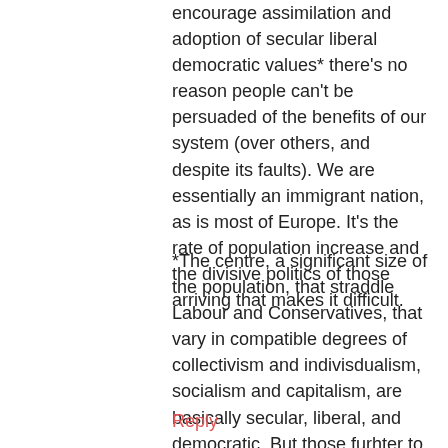encourage assimilation and adoption of secular liberal democratic values* there's no reason people can't be persuaded of the benefits of our system (over others, and despite its faults). We are essentially an immigrant nation, as is most of Europe. It's the rate of population increase and the divisive politics of those arriving that makes it difficult.
*The centre, a significant size of the population, that straddle Labour and Conservatives, that vary in compatible degrees of collectivism and indivisdualism, socialism and capitalism, are basically secular, liberal, and democratic. But those furhter to the left and right polarise us and prevent a centre party forming by fear mongering: if you spit OUR vote THEY will win.
Reply